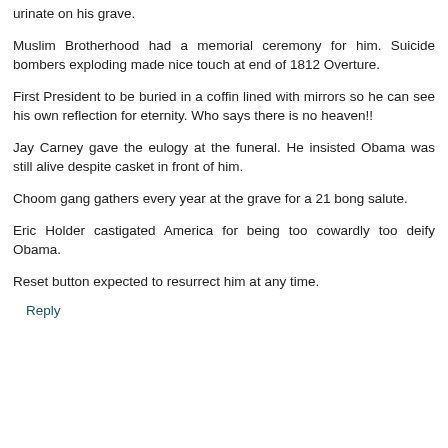urinate on his grave.
Muslim Brotherhood had a memorial ceremony for him. Suicide bombers exploding made nice touch at end of 1812 Overture.
First President to be buried in a coffin lined with mirrors so he can see his own reflection for eternity. Who says there is no heaven!!
Jay Carney gave the eulogy at the funeral. He insisted Obama was still alive despite casket in front of him.
Choom gang gathers every year at the grave for a 21 bong salute.
Eric Holder castigated America for being too cowardly too deify Obama.
Reset button expected to resurrect him at any time.
Reply